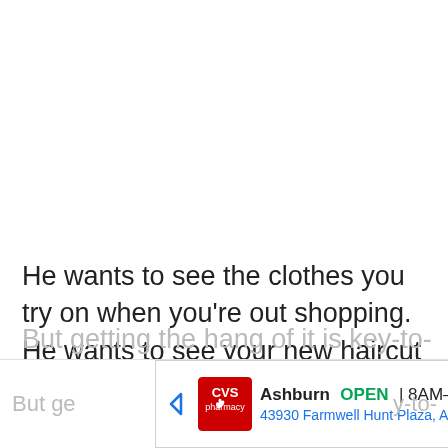He wants to see the clothes you try on when you're out shopping. He wants to see your new haircut when you're at the salon. He probably wants to see other slightly more x-rated content if you're prepared to send it too.
But ge[tting...] y-to-[...]
[Figure (screenshot): CVS Pharmacy local ad banner showing: CVS pharmacy logo (red heart), navigation arrow left, 'Ashburn OPEN 8AM-12AM', '43930 Farmwell Hunt Plaza, Ash...', blue navigation arrow right]